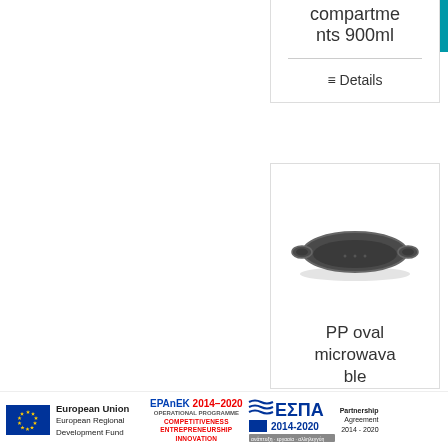compartments 900ml
≡ Details
[Figure (photo): PP oval microwavable food container/tray, dark gray, oval shape with handles on both sides, seen from a slight top angle]
PP oval microwavable
European Union European Regional Development Fund | EPAnEK 2014–2020 OPERATIONAL PROGRAMME COMPETITIVENESS ENTREPRENEURSHIP INNOVATION | ΕΣΠΑ 2014-2020 Partnership Agreement 2014-2020